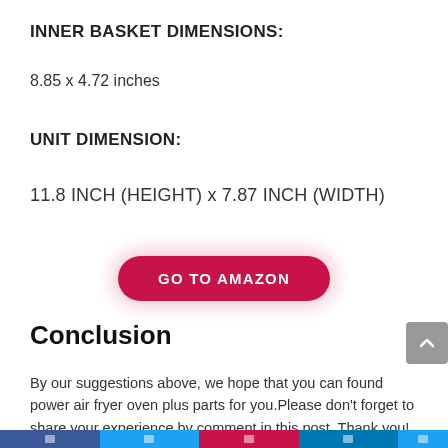INNER BASKET DIMENSIONS:
8.85 x 4.72 inches
UNIT DIMENSION:
11.8 INCH (HEIGHT) x 7.87 INCH (WIDTH)
[Figure (other): Red pill-shaped button with white bold text reading GO TO AMAZON]
Conclusion
By our suggestions above, we hope that you can found power air fryer oven plus parts for you.Please don't forget to share your experience by comment in this post. Thank you!
[social share bar]